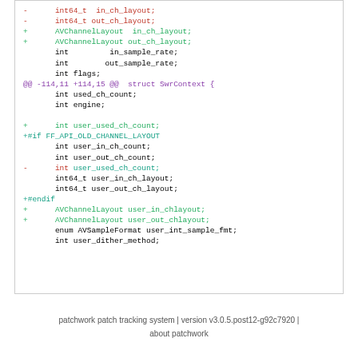Code diff snippet showing changes to SwrContext struct: removal of int64_t in_ch_layout/out_ch_layout and addition of AVChannelLayout in_ch_layout/out_ch_layout, plus conditional FF_API_OLD_CHANNEL_LAYOUT block with user channel layout changes.
patchwork patch tracking system | version v3.0.5.post12-g92c7920 | about patchwork